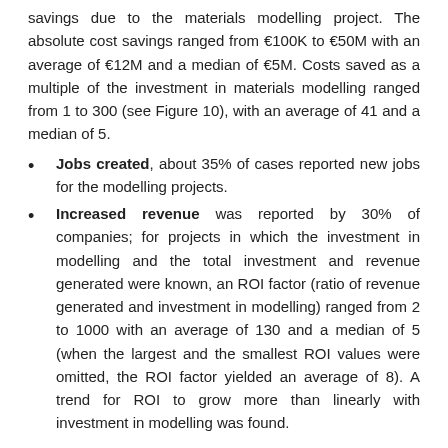savings due to the materials modelling project. The absolute cost savings ranged from €100K to €50M with an average of €12M and a median of €5M. Costs saved as a multiple of the investment in materials modelling ranged from 1 to 300 (see Figure 10), with an average of 41 and a median of 5.
Jobs created, about 35% of cases reported new jobs for the modelling projects.
Increased revenue was reported by 30% of companies; for projects in which the investment in modelling and the total investment and revenue generated were known, an ROI factor (ratio of revenue generated and investment in modelling) ranged from 2 to 1000 with an average of 130 and a median of 5 (when the largest and the smallest ROI values were omitted, the ROI factor yielded an average of 8). A trend for ROI to grow more than linearly with investment in modelling was found.
The analyses show that the resulting advances in materials, designed with an aid of modeling and simulation techniques, as well as products manufactured from these materials have the potential to impact the economy and society in a variety of ways.
TCGR's timely report addresses real-